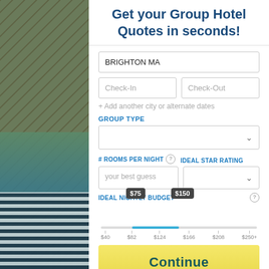Get your Group Hotel Quotes in seconds!
BRIGHTON MA
Check-In
Check-Out
+ Add another city or alternate dates
GROUP TYPE
# ROOMS PER NIGHT
IDEAL STAR RATING
your best guess
IDEAL NIGHTLY BUDGET
[Figure (other): Dual-handle range slider showing nightly budget range from $75 to $150 with tick marks at $40, $82, $124, $166, $208, $250+]
Continue